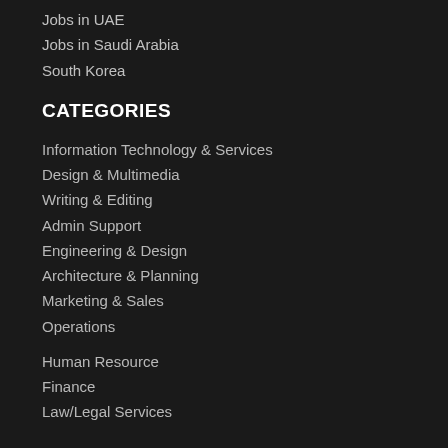Jobs in UAE
Jobs in Saudi Arabia
South Korea
CATEGORIES
Information Technology & Services
Design & Multimedia
Writing & Editing
Admin Support
Engineering & Design
Architecture & Planning
Marketing & Sales
Operations
Human Resource
Finance
Law/Legal Services